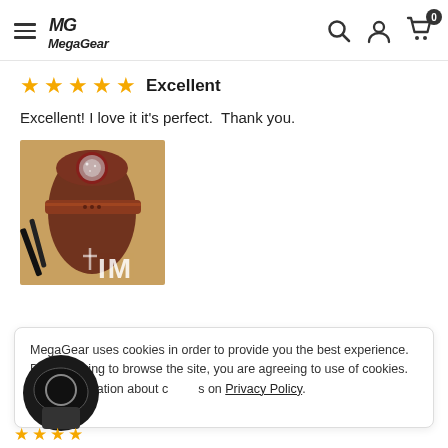MegaGear navigation bar with hamburger menu, logo, search, account, and cart icons
★★★★★ Excellent
Excellent! I love it it's perfect.  Thank you.
[Figure (photo): Photo of a dark brown leather cylindrical camera bag/case with a strap and buckle, lying on a surface with some objects around it.]
MegaGear uses cookies in order to provide you the best experience. By continuing to browse the site, you are agreeing to use of cookies. More information about cookies on Privacy Policy.
[Figure (other): Chat widget icon — dark circular chat bubble logo]